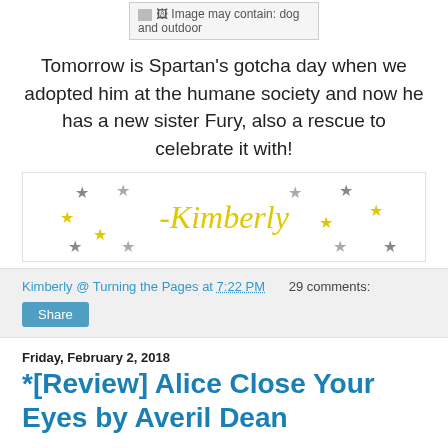[Figure (photo): Image placeholder showing text: Image may contain: dog and outdoor]
Tomorrow is Spartan's gotcha day when we adopted him at the humane society and now he has a new sister Fury, also a rescue to celebrate it with!
[Figure (illustration): Signature image with yellow cursive text reading '-Kimberly' surrounded by yellow and grey star decorations on a white background with a light grey border]
Kimberly @ Turning the Pages at 7:22 PM   29 comments:
Share
Friday, February 2, 2018
*[Review] Alice Close Your Eyes by Averil Dean